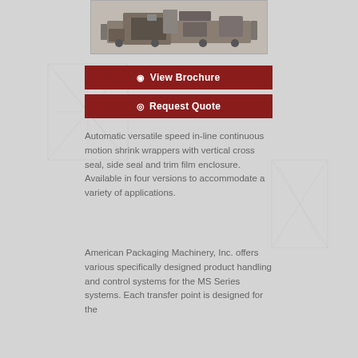[Figure (photo): Industrial packaging machine — automatic shrink wrapper equipment shown from a side/perspective view]
View Brochure
Request Quote
Automatic versatile speed in-line continuous motion shrink wrappers with vertical cross seal, side seal and trim film enclosure. Available in four versions to accommodate a variety of applications.
American Packaging Machinery, Inc. offers various specifically designed product handling and control systems for the MS Series systems. Each transfer point is designed for the